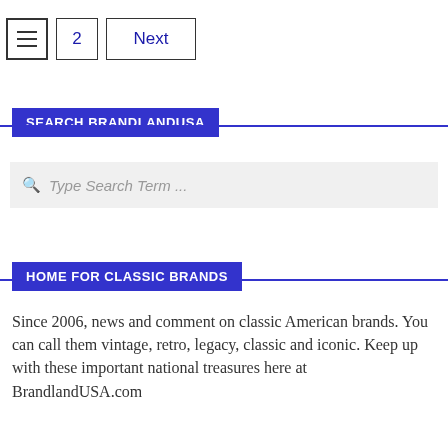≡  2  Next
SEARCH BRANDLANDUSA
Type Search Term ...
HOME FOR CLASSIC BRANDS
Since 2006, news and comment on classic American brands. You can call them vintage, retro, legacy, classic and iconic. Keep up with these important national treasures here at BrandlandUSA.com